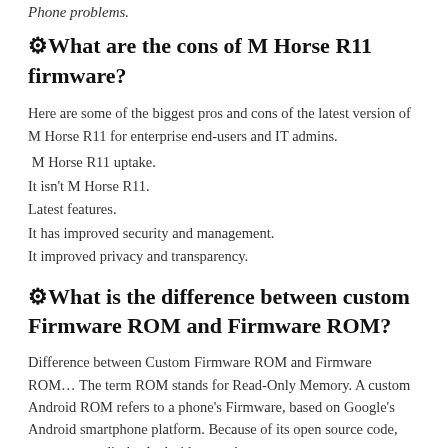Phone problems.
⚙What are the cons of M Horse R11 firmware?
Here are some of the biggest pros and cons of the latest version of M Horse R11 for enterprise end-users and IT admins.
M Horse R11 uptake.
It isn't M Horse R11.
Latest features.
It has improved security and management.
It improved privacy and transparency.
⚙What is the difference between custom Firmware ROM and Firmware ROM?
Difference between Custom Firmware ROM and Firmware ROM… The term ROM stands for Read-Only Memory. A custom Android ROM refers to a phone's Firmware, based on Google's Android smartphone platform. Because of its open source code, anyone can edit the Android smartphone